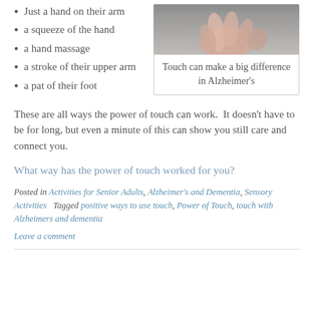Just a hand on their arm
a squeeze of the hand
a hand massage
a stroke of their upper arm
a pat of their foot
[Figure (photo): Close-up photo of hands touching, illustrating the power of touch in Alzheimer's care]
Touch can make a big difference in Alzheimer's
These are all ways the power of touch can work.  It doesn't have to be for long, but even a minute of this can show you still care and connect you.
What way has the power of touch worked for you?
Posted in Activities for Senior Adults, Alzheimer's and Dementia, Sensory Activities   Tagged positive ways to use touch, Power of Touch, touch with Alzheimers and dementia
Leave a comment